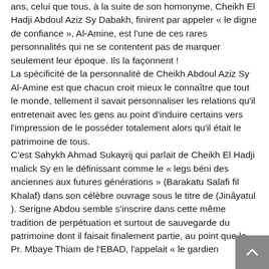ans, celui que tous, à la suite de son homonyme, Cheikh El Hadji Abdoul Aziz Sy Dabakh, finirent par appeler « le digne de confiance », Al-Amine, est l'une de ces rares personnalités qui ne se contentent pas de marquer seulement leur époque. Ils la façonnent ! La spécificité de la personnalité de Cheikh Abdoul Aziz Sy Al-Amine est que chacun croit mieux le connaître que tout le monde, tellement il savait personnaliser les relations qu'il entretenait avec les gens au point d'induire certains vers l'impression de le posséder totalement alors qu'il était le patrimoine de tous. C'est Sahykh Ahmad Sukayrij qui parlait de Cheikh El Hadji malick Sy en le définissant comme le « legs béni des anciennes aux futures générations » (Barakatu Salafi fil Khalaf) dans son célèbre ouvrage sous le titre de (Jinâyatul ). Serigne Abdou semble s'inscrire dans cette même tradition de perpétuation et surtout de sauvegarde du patrimoine dont il faisait finalement partie, au point que le Pr. Mbaye Thiam de l'EBAD, l'appelait « le gardien